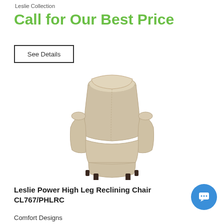Leslie Collection
Call for Our Best Price
See Details
[Figure (photo): A beige/cream leather power high leg reclining chair with dark wood legs, photographed at a slight angle on a white background.]
Leslie Power High Leg Reclining Chair CL767/PHLRC
Comfort Designs